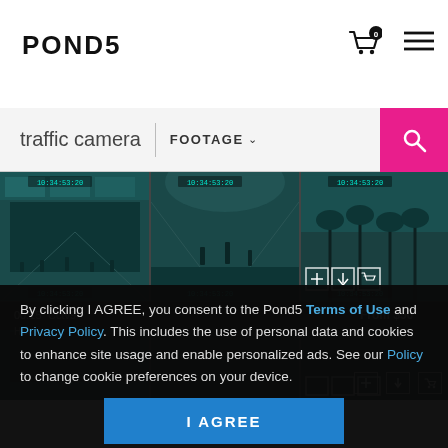POND5
traffic camera
FOOTAGE
[Figure (screenshot): CCTV traffic/airport camera footage grid showing multiple surveillance camera views with teal tint and timestamps reading 10:34:53:20]
By clicking I AGREE, you consent to the Pond5 Terms of Use and Privacy Policy. This includes the use of personal data and cookies to enhance site usage and enable personalized ads. See our Policy to change cookie preferences on your device.
I AGREE